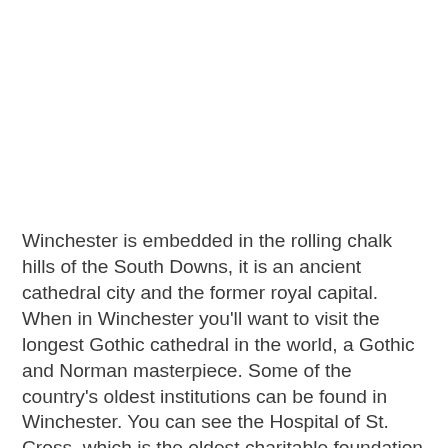Winchester is embedded in the rolling chalk hills of the South Downs, it is an ancient cathedral city and the former royal capital. When in Winchester you'll want to visit the longest Gothic cathedral in the world, a Gothic and Norman masterpiece. Some of the country's oldest institutions can be found in Winchester. You can see the Hospital of St. Cross, which is the oldest charitable foundation in England, and take a guided tour of Winchester College, the oldest continuously running school. Monuments like the Great Hall of Winchester Castle and the ruins of the Bishop's Palace which are